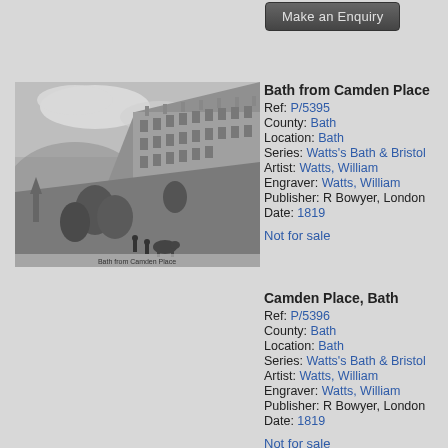[Figure (other): Button labeled 'Make an Enquiry' with dark gradient background]
[Figure (photo): Black and white engraving of Bath from Camden Place, showing curved Georgian terrace buildings on a hillside with trees and figures in foreground. Caption reads 'Bath from Camden Place'.]
Bath from Camden Place
Ref: P/5395
County: Bath
Location: Bath
Series: Watts's Bath & Bristol
Artist: Watts, William
Engraver: Watts, William
Publisher: R Bowyer, London
Date: 1819

Not for sale
Camden Place, Bath
Ref: P/5396
County: Bath
Location: Bath
Series: Watts's Bath & Bristol
Artist: Watts, William
Engraver: Watts, William
Publisher: R Bowyer, London
Date: 1819

Not for sale